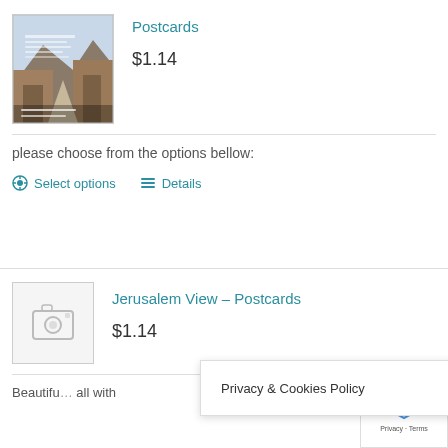[Figure (photo): Postcard product image showing a canyon/desert landscape with text overlay]
Postcards
$1.14
please choose from the options bellow:
Select options
Details
[Figure (photo): Placeholder image with camera icon for Jerusalem View product]
Jerusalem View – Postcards
$1.14
Beautifu... all with
Privacy & Cookies Policy